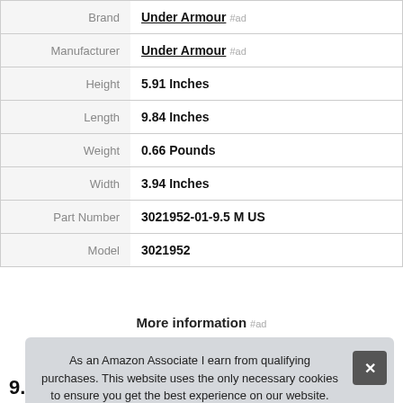| Attribute | Value |
| --- | --- |
| Brand | Under Armour #ad |
| Manufacturer | Under Armour #ad |
| Height | 5.91 Inches |
| Length | 9.84 Inches |
| Weight | 0.66 Pounds |
| Width | 3.94 Inches |
| Part Number | 3021952-01-9.5 M US |
| Model | 3021952 |
More information #ad
As an Amazon Associate I earn from qualifying purchases. This website uses the only necessary cookies to ensure you get the best experience on our website. More information
9.